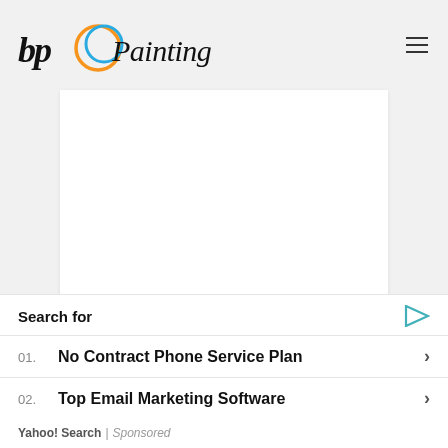[Figure (logo): bp Painting company logo with orange and blue circle graphic and italic text]
[Figure (other): White content area / advertisement placeholder with mgid branding logo and teal image strip at bottom]
[Figure (other): Close (X) button overlay in white rounded box]
Search for
01.  No Contract Phone Service Plan
02.  Top Email Marketing Software
Yahoo! Search | Sponsored